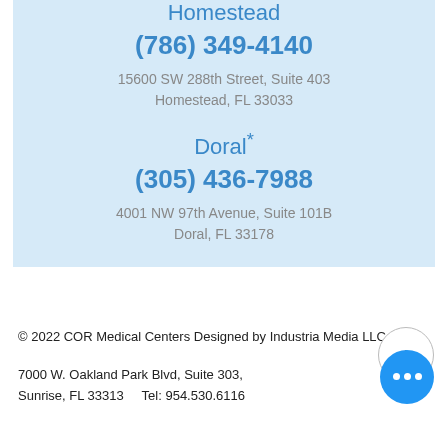Homestead
(786) 349-4140
15600 SW 288th Street, Suite 403
Homestead, FL 33033
Doral*
(305) 436-7988
4001 NW 97th Avenue, Suite 101B
Doral, FL 33178
© 2022 COR Medical Centers Designed by Industria Media LLC.

7000 W. Oakland Park Blvd, Suite 303, Sunrise, FL 33313     Tel: 954.530.6116